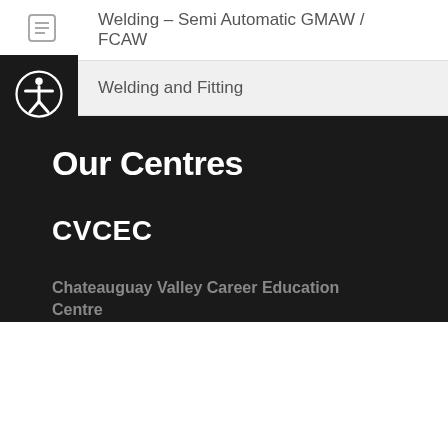Welding – Semi Automatic GMAW / FCAW
Welding and Fitting
Our Centres
CVCEC
Chateauguay Valley Career Education Centre